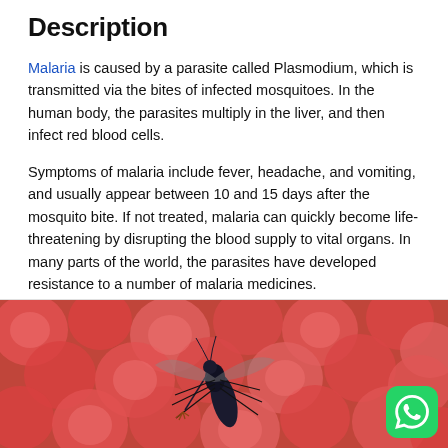Description
Malaria is caused by a parasite called Plasmodium, which is transmitted via the bites of infected mosquitoes. In the human body, the parasites multiply in the liver, and then infect red blood cells.
Symptoms of malaria include fever, headache, and vomiting, and usually appear between 10 and 15 days after the mosquito bite. If not treated, malaria can quickly become life-threatening by disrupting the blood supply to vital organs. In many parts of the world, the parasites have developed resistance to a number of malaria medicines.
[Figure (photo): A close-up photograph of a mosquito on red blood cells background, with a WhatsApp button overlay in the bottom right corner.]